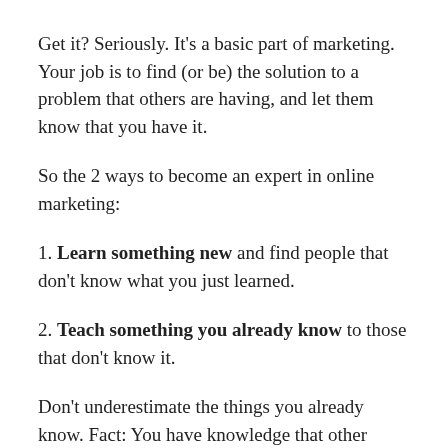Get it? Seriously. It's a basic part of marketing. Your job is to find (or be) the solution to a problem that others are having, and let them know that you have it.
So the 2 ways to become an expert in online marketing:
1. Learn something new and find people that don't know what you just learned.
2. Teach something you already know to those that don't know it.
Don't underestimate the things you already know. Fact: You have knowledge that other people do not (we all do).  It could be anything